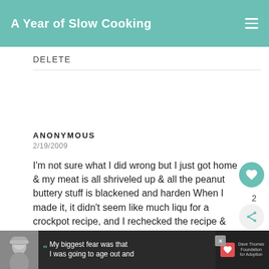A Year of Slow Cooking
DELETE
ANONYMOUS
2/19/2009
I'm not sure what I did wrong but I just got home & my meat is all shriveled up & all the peanut buttery stuff is blackened and harder. When I made it, it didn't seem like much liquid for a crockpot recipe, and I rechecked the recipe & definitely put everything in. I set it on low for 8 hrs & it has probably b... warm for maybe an hour but I don't think that would've dried everything completely up? I'm
[Figure (screenshot): What's Next promo box showing CrockPot Hamburger item with food image]
[Figure (photo): Advertisement banner at bottom: person in winter hat, Dave Thomas Foundation for Adoption ad with text 'My biggest fear was that I was going to age out and']